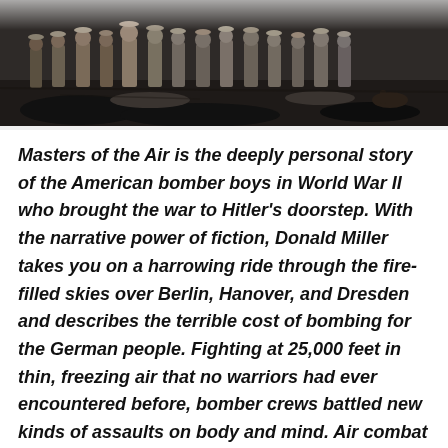[Figure (photo): A historical photograph showing a group of military personnel (American bomber crew members in WWII uniforms) standing outdoors on dark ground, visible from roughly waist/chest up along the top portion of the image.]
Masters of the Air is the deeply personal story of the American bomber boys in World War II who brought the war to Hitler's doorstep. With the narrative power of fiction, Donald Miller takes you on a harrowing ride through the fire-filled skies over Berlin, Hanover, and Dresden and describes the terrible cost of bombing for the German people. Fighting at 25,000 feet in thin, freezing air that no warriors had ever encountered before, bomber crews battled new kinds of assaults on body and mind. Air combat was deadly but intermittent: periods of inactivity and anxiety were followed by short bursts of fire and fear. Unlike infantrymen, bomber boys slept on clean sheets, drank beer in local pubs, and danced to the swing music of Glenn